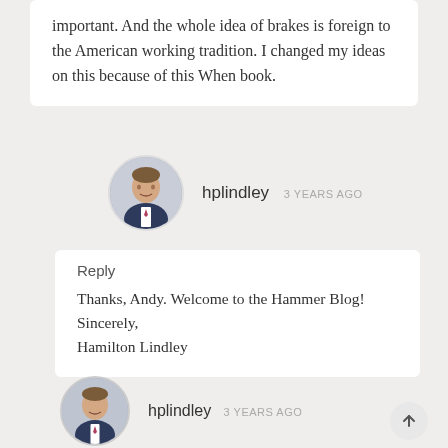important. And the whole idea of brakes is foreign to the American working tradition. I changed my ideas on this because of this When book.
hplindley  3 YEARS AGO
Reply
Thanks, Andy. Welcome to the Hammer Blog!
Sincerely,
Hamilton Lindley
hplindley  3 YEARS AGO